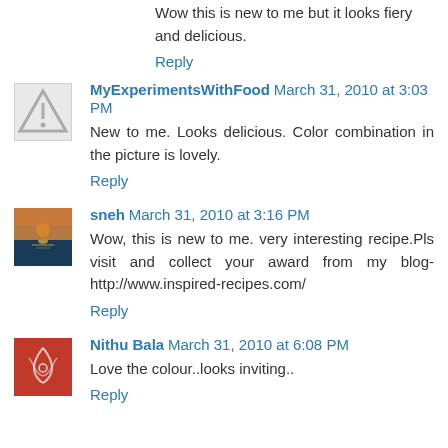Wow this is new to me but it looks fiery and delicious.
Reply
MyExperimentsWithFood March 31, 2010 at 3:03 PM
New to me. Looks delicious. Color combination in the picture is lovely.
Reply
sneh March 31, 2010 at 3:16 PM
Wow, this is new to me. very interesting recipe.Pls visit and collect your award from my blog- http://www.inspired-recipes.com/
Reply
Nithu Bala March 31, 2010 at 6:08 PM
Love the colour..looks inviting..
Reply